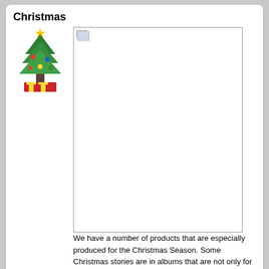Christmas
[Figure (illustration): Christmas tree icon with ornaments and star on top]
[Figure (photo): Large broken/missing image placeholder for Christmas products]
We have a number of products that are especially produced for the Christmas Season. Some Christmas stories are in albums that are not only for Christmas, but we will include some of those here also. You may also do a search for "Christmas" to find anything related to Christmas.
[Figure (photo): Small broken/missing image placeholder]
Color The Classics
[Figure (illustration): Color The Classics book/album cover with blue and yellow design]
Color the Classics is a curriculum that will expose children to great music in a way that is fun for them and easy for the parents. Children are given a sense that there is a God-given purpose in music, thereby planting the seeds of love and appreciation for time-honored music that will last a lifetime.